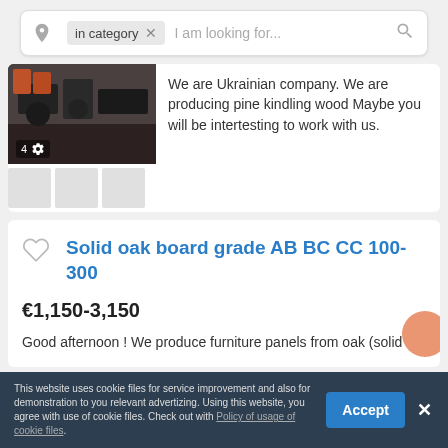[Figure (screenshot): Search bar with location pin icon, 'in category' pill with X, and placeholder text 'I am looking for...' with search icon]
[Figure (photo): Product listing image showing industrial machinery/wood processing equipment. Counter showing '4' photos.]
We are Ukrainian company. We are producing pine kindling wood Maybe you will be intertesting to work with us.
Solid oak board grade AB BC CC 100-300
€1,150-3,150
Good afternoon ! We produce furniture panels from oak (solid
This website uses cookie files for service improvement and also for demonstration to you relevant advertizing. Using this website, you agree with use of cookie files. Check out with Policy of usage of cookie files.